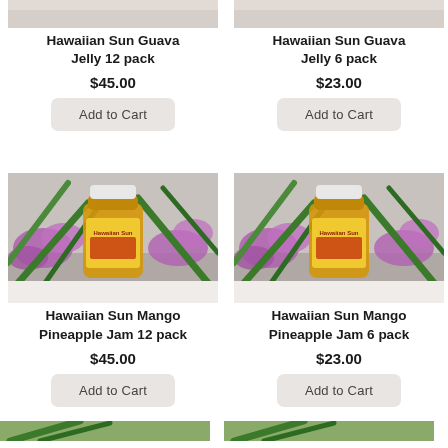[Figure (photo): Hawaiian Sun Guava Jelly 12 pack product photo (top cropped)]
Hawaiian Sun Guava Jelly 12 pack
$45.00
[Figure (photo): Hawaiian Sun Guava Jelly 6 pack product photo (top cropped)]
Hawaiian Sun Guava Jelly 6 pack
$23.00
[Figure (photo): Hawaiian Sun Mango Pineapple Jam 12 pack product photo — jar with colorful label surrounded by tropical flowers]
Hawaiian Sun Mango Pineapple Jam 12 pack
$45.00
[Figure (photo): Hawaiian Sun Mango Pineapple Jam 6 pack product photo — jar with colorful label surrounded by tropical flowers]
Hawaiian Sun Mango Pineapple Jam 6 pack
$23.00
[Figure (photo): Bottom row product photos, partially visible (cropped at bottom of page)]